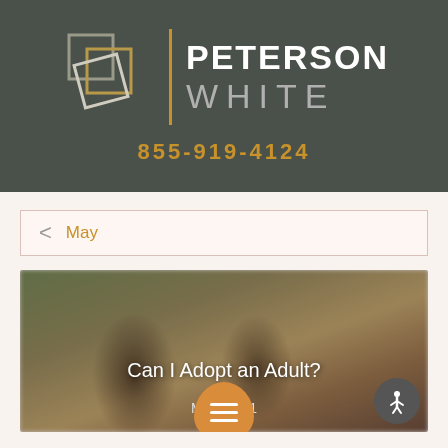[Figure (logo): Peterson White law firm logo with overlapping square outlines, vertical orange divider line, firm name in white and gray]
855-919-4124
< May
[Figure (photo): Blurred background photo of two people smiling outdoors, used as article card background]
Can I Adopt an Adult?
May 2021